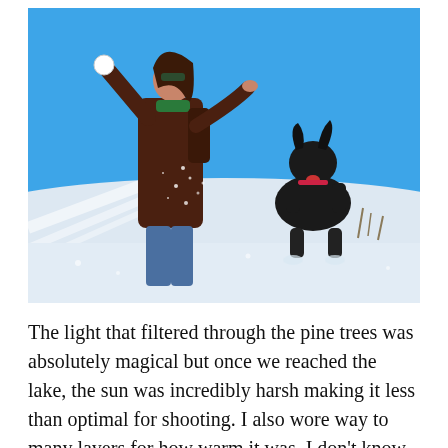[Figure (photo): A woman in a brown jacket, green scarf, jeans, and sunglasses with a backpack, throwing a snowball at a black dog that is jumping up on its hind legs in a snowy landscape with a bright blue sky. Snow is flying through the air.]
The light that filtered through the pine trees was absolutely magical but once we reached the lake, the sun was incredibly harsh making it less than optimal for shooting. I also wore way to many layers for how warm it was. I don't know what I was thinking maybe that it was January in Colorado and the #1 all season rule is to